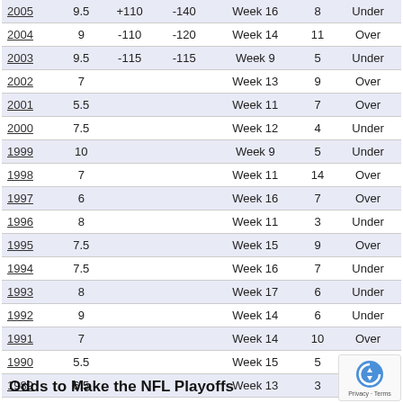| Year | Line | Over Odds | Under Odds | Week | Total | Result |
| --- | --- | --- | --- | --- | --- | --- |
| 2005 | 9.5 | +110 | -140 | Week 16 | 8 | Under |
| 2004 | 9 | -110 | -120 | Week 14 | 11 | Over |
| 2003 | 9.5 | -115 | -115 | Week 9 | 5 | Under |
| 2002 | 7 |  |  | Week 13 | 9 | Over |
| 2001 | 5.5 |  |  | Week 11 | 7 | Over |
| 2000 | 7.5 |  |  | Week 12 | 4 | Under |
| 1999 | 10 |  |  | Week 9 | 5 | Under |
| 1998 | 7 |  |  | Week 11 | 14 | Over |
| 1997 | 6 |  |  | Week 16 | 7 | Over |
| 1996 | 8 |  |  | Week 11 | 3 | Under |
| 1995 | 7.5 |  |  | Week 15 | 9 | Over |
| 1994 | 7.5 |  |  | Week 16 | 7 | Under |
| 1993 | 8 |  |  | Week 17 | 6 | Under |
| 1992 | 9 |  |  | Week 14 | 6 | Under |
| 1991 | 7 |  |  | Week 14 | 10 | Over |
| 1990 | 5.5 |  |  | Week 15 | 5 |  |
| 1989 | 6.5 |  |  | Week 13 | 3 |  |
Odds to Make the NFL Playoffs